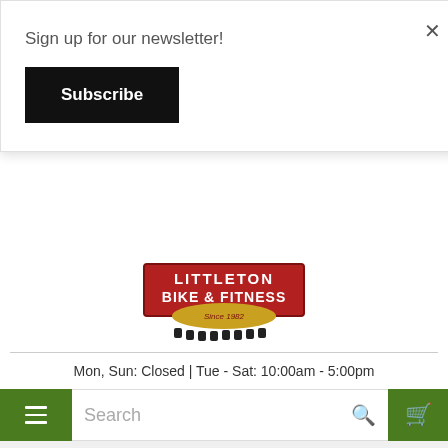Sign up for our newsletter!
Subscribe
[Figure (logo): Littleton Bike & Fitness logo with red banner, gold text, and gear chain graphic. Text reads: LITTLETON BIKE & FITNESS Since 1982]
Mon, Sun: Closed | Tue - Sat: 10:00am - 5:00pm
Search
Filter
Sort
Bicycling Catalog > Parts > Pedals
Ped...